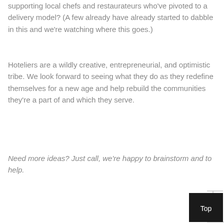supporting local chefs and restaurateurs who've pivoted to a delivery model? (A few already have already started to dabble in this and we're watching where this goes.)
Hoteliers are a wildly creative, entrepreneurial, and optimistic tribe. We look forward to seeing what they do as they redefine themselves for a new age and help rebuild the communities they're a part of and which they serve.
Need more ideas? Just call, we're happy to brainstorm and to help.